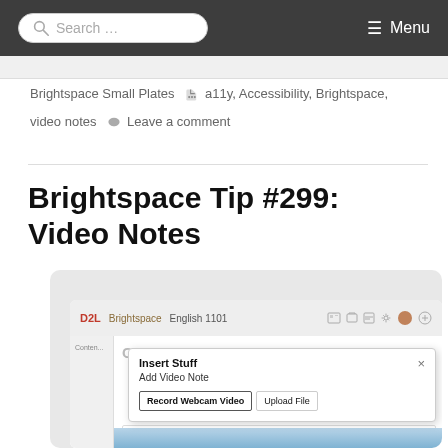Search ... Menu
Brightspace Small Plates  🏷 a11y, Accessibility, Brightspace, video notes  💬 Leave a comment
Brightspace Tip #299: Video Notes
[Figure (screenshot): Screenshot of Brightspace interface showing an 'Insert Stuff' modal dialog with 'Add Video Note' heading and two buttons: 'Record Webcam Video' and 'Upload File']